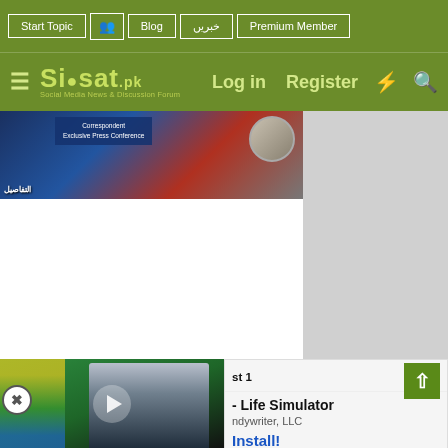Start Topic | Blog | خبریں | Premium Member | Log in | Register
[Figure (logo): Siasat.pk logo - Social Media News & Discussion Forum with navigation: Log in, Register, lightning bolt icon, search icon]
[Figure (photo): News image with people and text overlay, appears to be a news article header image]
[Figure (photo): Broken image placeholder showing filename: 7-31-2011_151917_1.gif]
[Figure (screenshot): Video thumbnail showing a man in suit with Kazakhstan flag background and play button, overlaid with advertisement panel showing 'Life Simulator' app by Handywriter LLC with Install button and X close button]